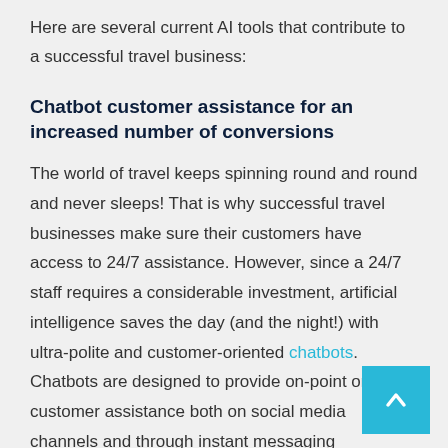Here are several current AI tools that contribute to a successful travel business:
Chatbot customer assistance for an increased number of conversions
The world of travel keeps spinning round and round and never sleeps! That is why successful travel businesses make sure their customers have access to 24/7 assistance. However, since a 24/7 staff requires a considerable investment, artificial intelligence saves the day (and the night!) with ultra-polite and customer-oriented chatbots. Chatbots are designed to provide on-point online customer assistance both on social media channels and through instant messaging applications.